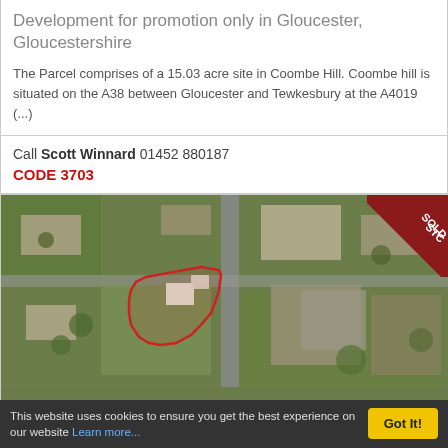Development for promotion only in Gloucester, Gloucestershire
The Parcel comprises of a 15.03 acre site in Coombe Hill. Coombe hill is situated on the A38 between Gloucester and Tewkesbury at the A4019 (...)
Call Scott Winnard 01452 880187
CODE 3703
[Figure (photo): Aerial map photograph of a site outlined in red, with a 'SOLD STC' ribbon badge in the top-right corner]
Residential Development Opportunity G
This website uses cookies to ensure you get the best experience on our website Learn more...